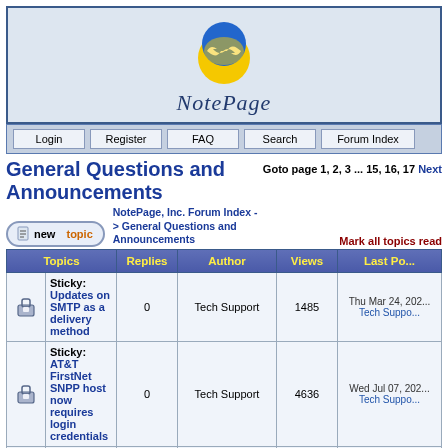[Figure (logo): NotePage logo: blue and yellow globe with arrows, above italic text 'NotePage']
Login | Register | FAQ | Search | Forum Index
General Questions and Announcements
Goto page 1, 2, 3 ... 15, 16, 17 Next
new topic
NotePage, Inc. Forum Index -> General Questions and Announcements
Mark all topics read
| Topics | Replies | Author | Views | Last Post |
| --- | --- | --- | --- | --- |
| Sticky: Updates on SMTP as a delivery method | 0 | Tech Support | 1485 | Thu Mar 24, 202... Tech Suppo... |
| Sticky: AT&T FirstNet SNPP host now requires login credentials | 0 | Tech Support | 4636 | Wed Jul 07, 202... Tech Suppo... |
| Sticky: The end of Verizon's | 0 | Tech Support | 13137 | Thu Oct 24, 201... |